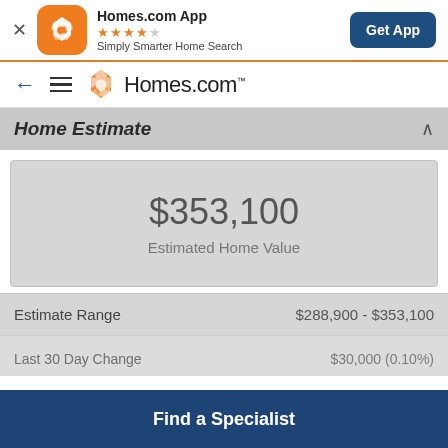[Figure (screenshot): Homes.com app banner with orange icon, star rating, subtitle, and Get App button]
[Figure (logo): Homes.com navigation bar with back arrow, hamburger menu, and Homes.com logo]
Home Estimate
$353,100
Estimated Home Value
Estimate Range	$288,900 - $353,100
Last 30 Day Change	$30,000 (0.10%)
Find a Specialist